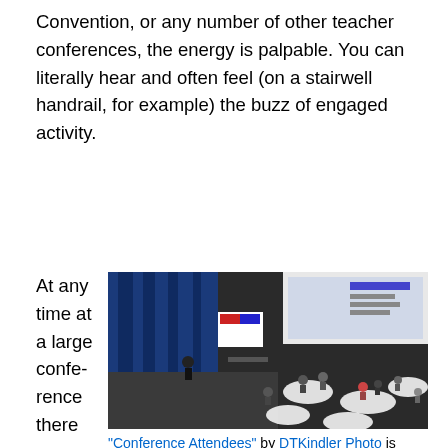Convention, or any number of other teacher conferences, the energy is palpable. You can literally hear and often feel (on a stairwell handrail, for example) the buzz of engaged activity.
At any time at a large conference there are dozens of activities to choo
[Figure (photo): Photo of a large conference room filled with attendees seated at round tables, a presentation screen visible at the front of the room, blue curtains in the background.]
"Conference Attendees" by DTKindler Photo is licensed under CC BY 2.0